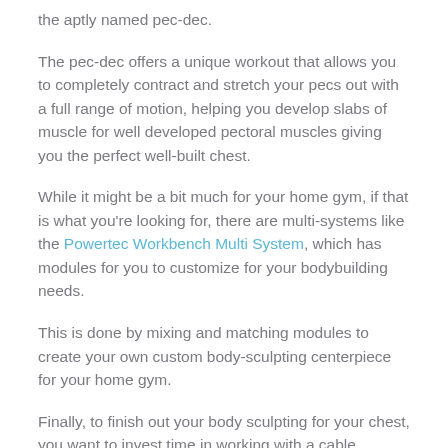the aptly named pec-dec.
The pec-dec offers a unique workout that allows you to completely contract and stretch your pecs out with a full range of motion, helping you develop slabs of muscle for well developed pectoral muscles giving you the perfect well-built chest.
While it might be a bit much for your home gym, if that is what you're looking for, there are multi-systems like the Powertec Workbench Multi System, which has modules for you to customize for your bodybuilding needs.
This is done by mixing and matching modules to create your own custom body-sculpting centerpiece for your home gym.
Finally, to finish out your body sculpting for your chest, you want to invest time in working with a cable crossover station.
These machines are incredibly versatile in the range of motion for exercises that they allow you to perform while giving you more customizable resistances than resistance bands.